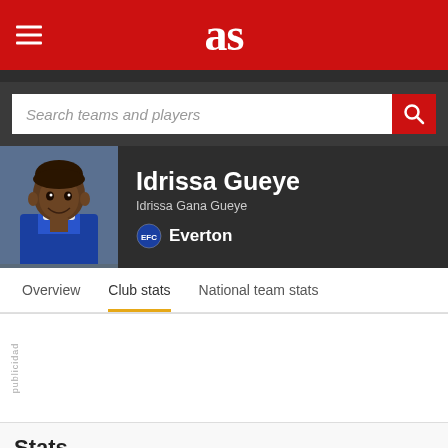as
Search teams and players
[Figure (photo): Photo of Idrissa Gueye in Everton blue kit, smiling]
Idrissa Gueye
Idrissa Gana Gueye
Everton
Overview	Club stats	National team stats
publicidad
Stats